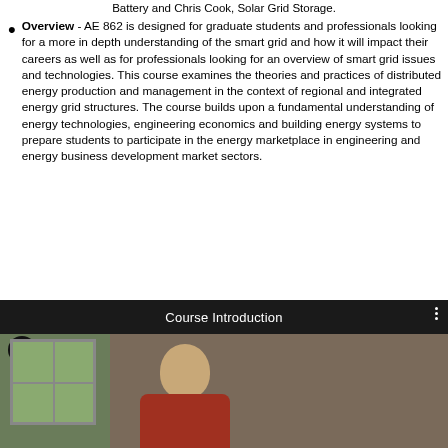Battery and Chris Cook, Solar Grid Storage.
Overview - AE 862 is designed for graduate students and professionals looking for a more in depth understanding of the smart grid and how it will impact their careers as well as for professionals looking for an overview of smart grid issues and technologies. This course examines the theories and practices of distributed energy production and management in the context of regional and integrated energy grid structures. The course builds upon a fundamental understanding of energy technologies, engineering economics and building energy systems to prepare students to participate in the energy marketplace in engineering and energy business development market sectors.
[Figure (screenshot): Video thumbnail showing 'Course Introduction' title bar with a dark header, a person in a red shirt visible in the frame along with a window in the background.]